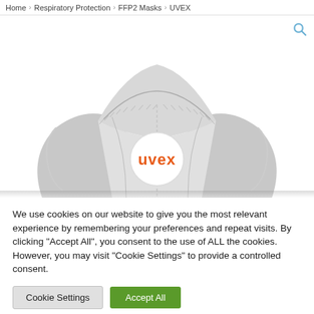Home > Respiratory Protection > FFP2 Masks > UVEX
[Figure (photo): A uvex FFP2 mask respirator shown from front, grey folded cup style with orange uvex logo on white circular exhalation valve, white background. A magnifier icon appears in the top right corner.]
We use cookies on our website to give you the most relevant experience by remembering your preferences and repeat visits. By clicking "Accept All", you consent to the use of ALL the cookies. However, you may visit "Cookie Settings" to provide a controlled consent.
Cookie Settings
Accept All